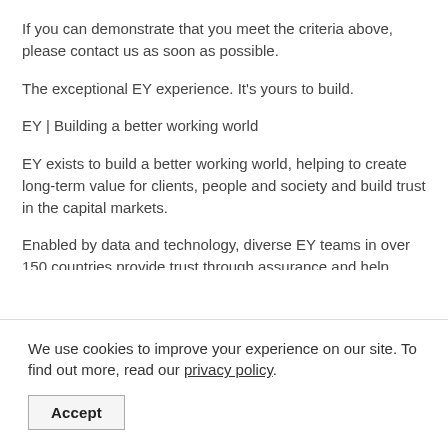If you can demonstrate that you meet the criteria above, please contact us as soon as possible.
The exceptional EY experience. It's yours to build.
EY | Building a better working world
EY exists to build a better working world, helping to create long-term value for clients, people and society and build trust in the capital markets.
Enabled by data and technology, diverse EY teams in over 150 countries provide trust through assurance and help clients grow, transform and operate.
Working across assurance, consulting, law, strategy, tax and transactions, EY teams ask better questions to find new answers for the complex issues facing our world today.
EY is an equal opportunity, affirmative action employer providing…
We use cookies to improve your experience on our site. To find out more, read our privacy policy.
Accept